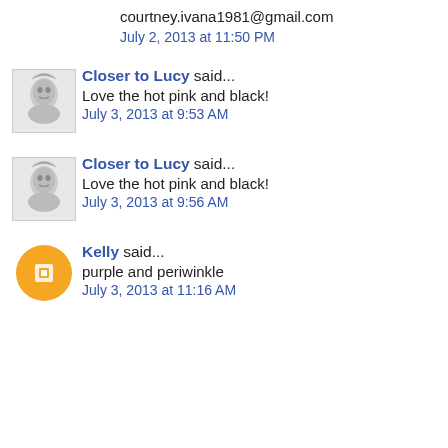courtney.ivana1981@gmail.com
July 2, 2013 at 11:50 PM
Closer to Lucy said... Love the hot pink and black! July 3, 2013 at 9:53 AM
Closer to Lucy said... Love the hot pink and black! July 3, 2013 at 9:56 AM
Kelly said... purple and periwinkle July 3, 2013 at 11:16 AM